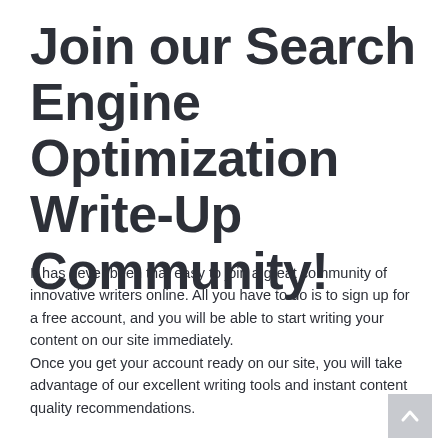Join our Search Engine Optimization Write-Up Community!
It has never been that easy to join a great community of innovative writers online. All you have to do is to sign up for a free account, and you will be able to start writing your content on our site immediately.
Once you get your account ready on our site, you will take advantage of our excellent writing tools and instant content quality recommendations.